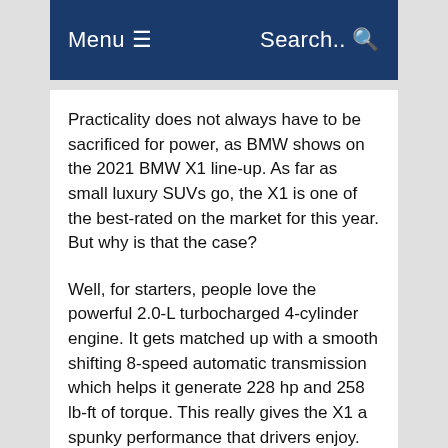Menu ☰   Search.. 🔍
Practicality does not always have to be sacrificed for power, as BMW shows on the 2021 BMW X1 line-up. As far as small luxury SUVs go, the X1 is one of the best-rated on the market for this year. But why is that the case?
Well, for starters, people love the powerful 2.0-L turbocharged 4-cylinder engine. It gets matched up with a smooth shifting 8-speed automatic transmission which helps it generate 228 hp and 258 lb-ft of torque. This really gives the X1 a spunky performance that drivers enjoy. Not to mention there is a ton of room for